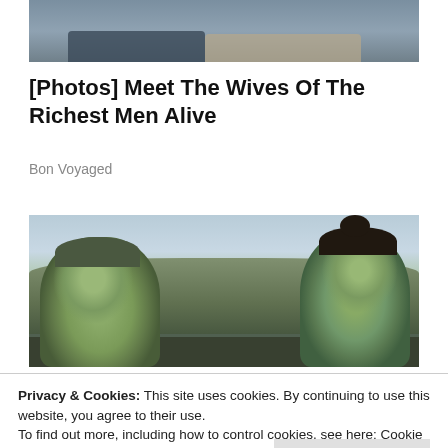[Figure (photo): Partial photo showing two people seated, cropped at top of page]
[Photos] Meet The Wives Of The Richest Men Alive
Bon Voyaged
[Figure (photo): Movie still showing two CGI/green-skinned characters facing each other outdoors — Hulk and She-Hulk from Marvel TV series]
Privacy & Cookies: This site uses cookies. By continuing to use this website, you agree to their use.
To find out more, including how to control cookies, see here: Cookie Policy
Close and accept
Maslany And Ginger Gonzaga Tee Up...